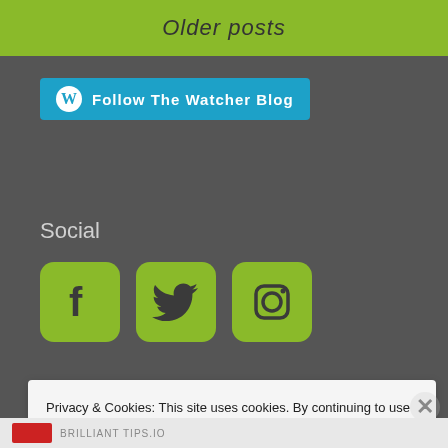Older posts
Follow The Watcher Blog
Social
[Figure (illustration): Social media icons: Facebook, Twitter, Instagram — green rounded square buttons]
Like The Watcher Blog on Facebook
Privacy & Cookies: This site uses cookies. By continuing to use this website, you agree to their use. To find out more, including how to control cookies, see here: Cookie Policy
Close and accept